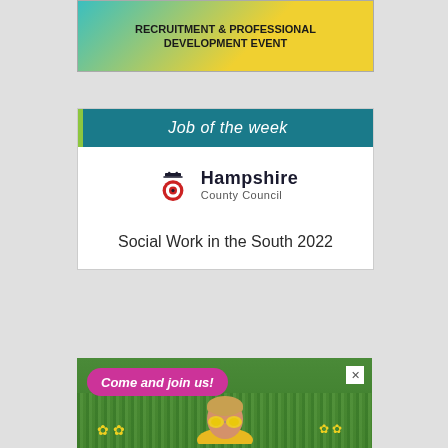[Figure (infographic): Partially visible banner for Recruitment & Professional Development Event with teal and yellow gradient background]
[Figure (infographic): Job of the week card with teal header, Hampshire County Council logo, and text 'Social Work in the South 2022']
Social Work in the South 2022
[Figure (photo): Advertisement banner showing 'Come and join us!' in pink rounded label over a photo of a child lying in grass with yellow sunflowers/leaves, wearing yellow heart-shaped sunglasses]